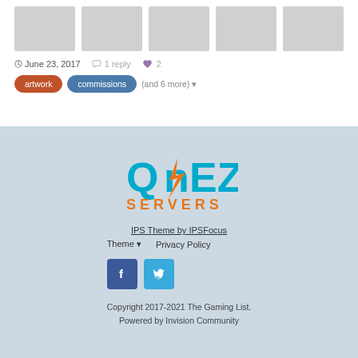[Figure (photo): Row of 5 gray image placeholders]
June 23, 2017   1 reply   2
artwork   commissions   (and 6 more)
[Figure (logo): AMEZ SERVERS logo with lightning bolt, cyan and orange on blue-gray background]
IPS Theme by IPSFocus
Theme   Privacy Policy
Copyright 2017-2021 The Gaming List.
Powered by Invision Community